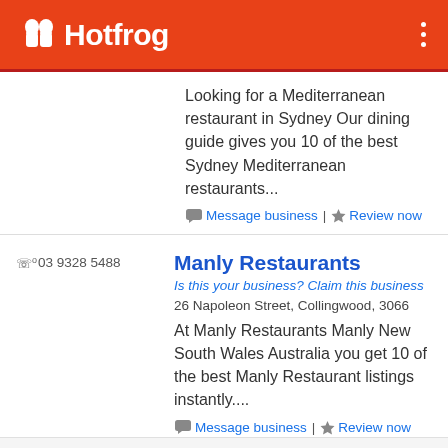Hotfrog
Looking for a Mediterranean restaurant in Sydney Our dining guide gives you 10 of the best Sydney Mediterranean restaurants...
Message business | Review now
03 9328 5488
Manly Restaurants
Is this your business? Claim this business
26 Napoleon Street, Collingwood, 3066
At Manly Restaurants Manly New South Wales Australia you get 10 of the best Manly Restaurant listings instantly....
Message business | Review now